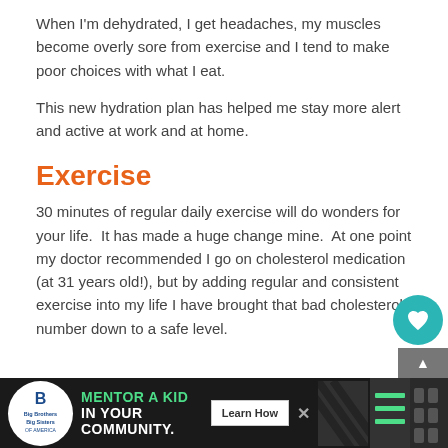When I'm dehydrated, I get headaches, my muscles become overly sore from exercise and I tend to make poor choices with what I eat.
This new hydration plan has helped me stay more alert and active at work and at home.
Exercise
30 minutes of regular daily exercise will do wonders for your life.  It has made a huge change mine.  At one point my doctor recommended I go on cholesterol medication (at 31 years old!), but by adding regular and consistent exercise into my life I have brought that bad cholesterol number down to a safe level.
[Figure (other): Advertisement banner for Big Brothers Big Sisters: 'MENTOR A KID IN YOUR COMMUNITY' with Learn How button]